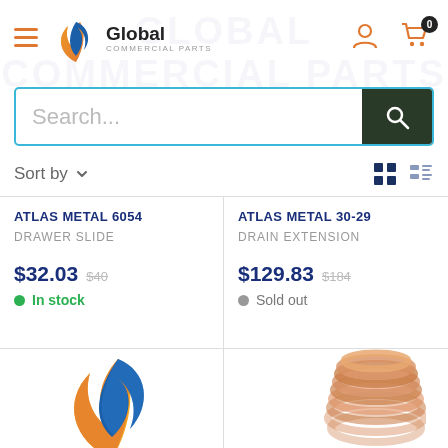Global Commercial Parts — navigation header with logo, search bar, user icon, cart icon (0 items)
Sort by ▾
ATLAS METAL 6054
DRAWER SLIDE
$32.03  $40  ● In stock
ATLAS METAL 30-29
DRAIN EXTENSION
$129.83  $184  ● Sold out
[Figure (logo): Global Commercial Parts swirl logo (large, blue and orange flame/swirl)]
[Figure (photo): Copper coil / tubing product image, partially visible]